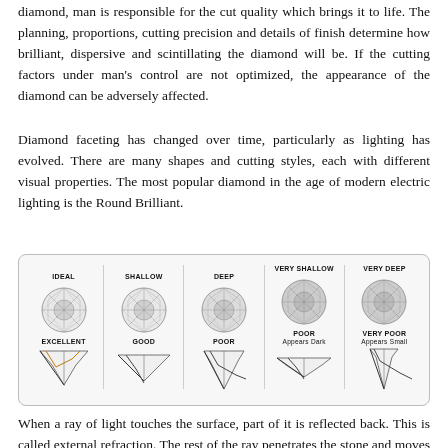diamond, man is responsible for the cut quality which brings it to life. The planning, proportions, cutting precision and details of finish determine how brilliant, dispersive and scintillating the diamond will be. If the cutting factors under man's control are not optimized, the appearance of the diamond can be adversely affected.
Diamond faceting has changed over time, particularly as lighting has evolved. There are many shapes and cutting styles, each with different visual properties. The most popular diamond in the age of modern electric lighting is the Round Brilliant.
[Figure (infographic): Five diamond cut comparison diagrams showing top-view facet patterns and side-view cross-sections. Labels from left to right: IDEAL/EXCELLENT, SHALLOW/GOOD, DEEP/POOR, VERY SHALLOW/POOR Appears Dark, VERY DEEP/VERY POOR Appears Small]
When a ray of light touches the surface, part of it is reflected back. This is called external refraction. The rest of the ray penetrates the stone and moves through it. This is known as refraction. The part of the ray reflected back